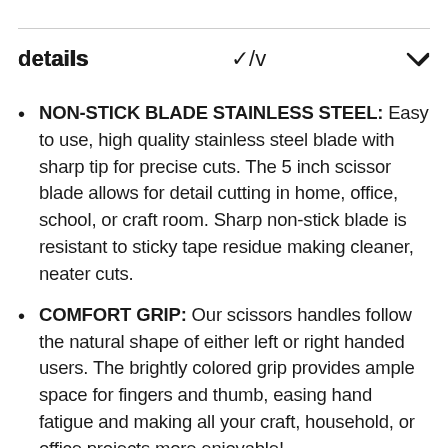details
NON-STICK BLADE STAINLESS STEEL: Easy to use, high quality stainless steel blade with sharp tip for precise cuts. The 5 inch scissor blade allows for detail cutting in home, office, school, or craft room. Sharp non-stick blade is resistant to sticky tape residue making cleaner, neater cuts.
COMFORT GRIP: Our scissors handles follow the natural shape of either left or right handed users. The brightly colored grip provides ample space for fingers and thumb, easing hand fatigue and making all your craft, household, or office projects more enjoyable!